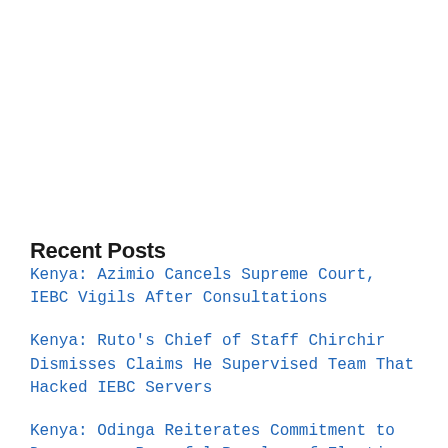Recent Posts
Kenya: Azimio Cancels Supreme Court, IEBC Vigils After Consultations
Kenya: Ruto's Chief of Staff Chirchir Dismisses Claims He Supervised Team That Hacked IEBC Servers
Kenya: Odinga Reiterates Commitment to Democracy, Peaceful Resolve of Election Dispute
Kenya's Two More Athletes Suspended By Athletics